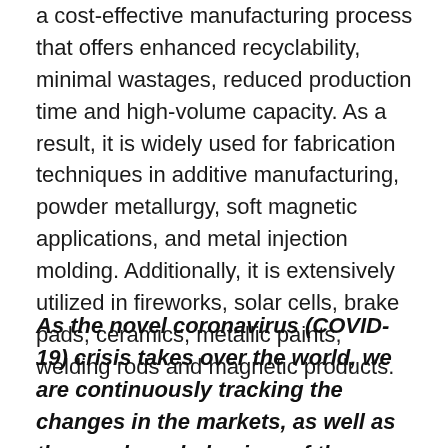a cost-effective manufacturing process that offers enhanced recyclability, minimal wastages, reduced production time and high-volume capacity. As a result, it is widely used for fabrication techniques in additive manufacturing, powder metallurgy, soft magnetic applications, and metal injection molding. Additionally, it is extensively utilized in fireworks, solar cells, brake pads, ceramics, metallic paints, welding rods and magnetic products.
As the novel coronavirus (COVID-19) crisis takes over the world, we are continuously tracking the changes in the markets, as well as the purchase behaviors of the consumers